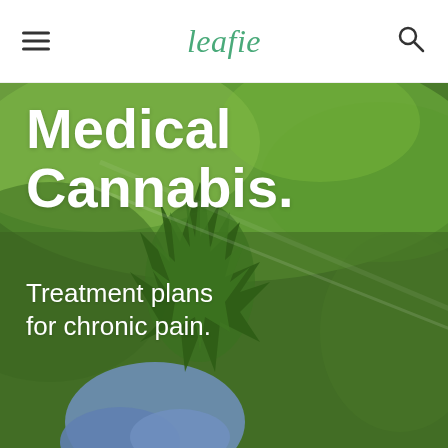leafie
[Figure (photo): Close-up of a gloved hand holding a cannabis plant bud with green blurred background, overlaid with white text reading 'Medical Cannabis. Treatment plans for chronic pain.']
Medical Cannabis.
Treatment plans for chronic pain.